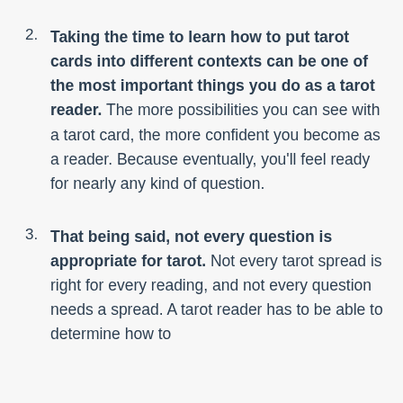2. Taking the time to learn how to put tarot cards into different contexts can be one of the most important things you do as a tarot reader. The more possibilities you can see with a tarot card, the more confident you become as a reader. Because eventually, you'll feel ready for nearly any kind of question.
3. That being said, not every question is appropriate for tarot. Not every tarot spread is right for every reading, and not every question needs a spread. A tarot reader has to be able to determine how to